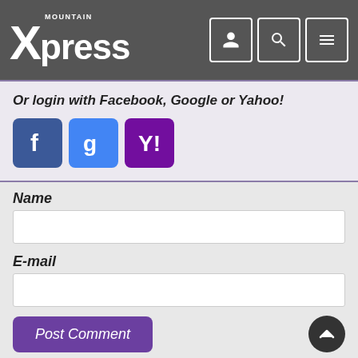Mountain Xpress
Or login with Facebook, Google or Yahoo!
[Figure (screenshot): Social login buttons: Facebook (blue with f), Google+ (blue with g), Yahoo (purple with Y!)]
Name
E-mail
Post Comment
[Figure (screenshot): Asheville-Area EATS banner at bottom in dark red with badge]